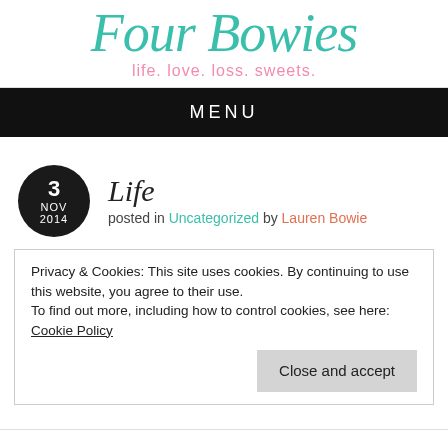Four Bowies — life. love. loss. sweets.
MENU
Life
posted in Uncategorized by Lauren Bowie
Privacy & Cookies: This site uses cookies. By continuing to use this website, you agree to their use.
To find out more, including how to control cookies, see here: Cookie Policy
Close and accept